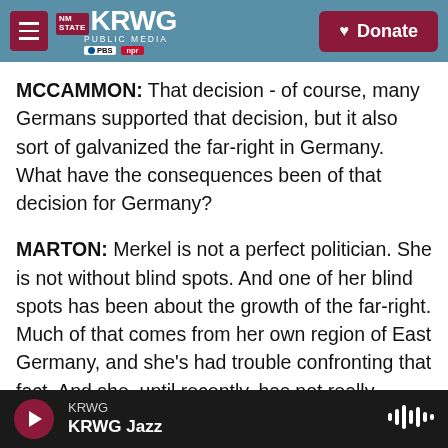KRWG PUBLIC MEDIA | NM STATE | PBS | NPR | Donate
MCCAMMON: That decision - of course, many Germans supported that decision, but it also sort of galvanized the far-right in Germany. What have the consequences been of that decision for Germany?
MARTON: Merkel is not a perfect politician. She is not without blind spots. And one of her blind spots has been about the growth of the far-right. Much of that comes from her own region of East Germany, and she's had trouble confronting that fact. And she, until recently, has not really engaged fully with her fellow East Germans' disappointment with unification and how not everybody was as quick to
KRWG | KRWG Jazz